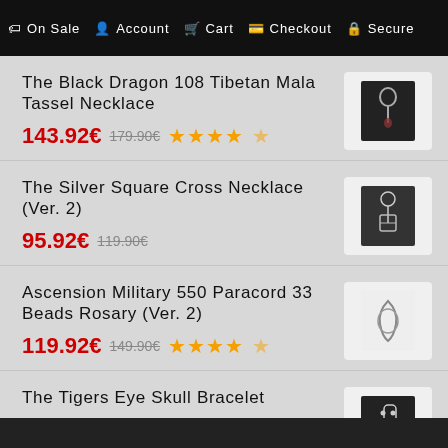On Sale  Account  Cart  Checkout  Secure
The Black Dragon 108 Tibetan Mala Tassel Necklace
143.92€  179.90€  ★★★★☆
The Silver Square Cross Necklace (Ver. 2)
95.92€  119.90€
Ascension Military 550 Paracord 33 Beads Rosary (Ver. 2)
119.92€  149.90€  ★★★★☆
The Tigers Eye Skull Bracelet
71.92€  89.90€  ★★★★☆